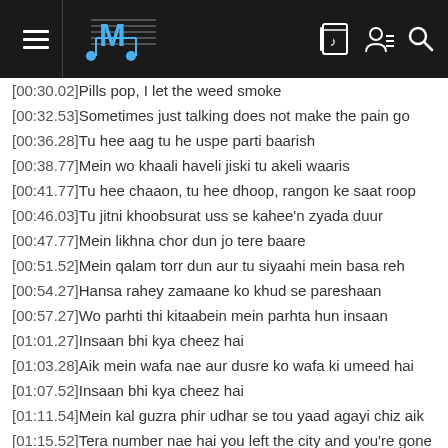MusicMatch app header with hamburger menu, logo, and icons
[00:30.02]Pills pop, I let the weed smoke
[00:32.53]Sometimes just talking does not make the pain go
[00:36.28]Tu hee aag tu he uspe parti baarish
[00:38.77]Mein wo khaali haveli jiski tu akeli waaris
[00:41.77]Tu hee chaaon, tu hee dhoop, rangon ke saat roop
[00:46.03]Tu jitni khoobsurat uss se kahee'n zyada duur
[00:47.77]Mein likhna chor dun jo tere baare
[00:51.52]Mein qalam torr dun aur tu siyaahi mein basa reh
[00:54.27]Hansa rahey zamaane ko khud se pareshaan
[00:57.27]Wo parhti thi kitaabein mein parhta hun insaan
[01:01.27]Insaan bhi kya cheez hai
[01:03.28]Aik mein wafa nae aur dusre ko wafa ki umeed hai
[01:07.52]Insaan bhi kya cheez hai
[01:11.54]Mein kal guzra phir udhar se tou yaad agayi chiz aik
[01:15.52]Tera number nae hai you left the city and you're gone
[01:19.02]Baat karne ko hai bass ye microphone
[01:21.02]Wohi kaghaz, wohi qalam, lehje sakht, dil naram